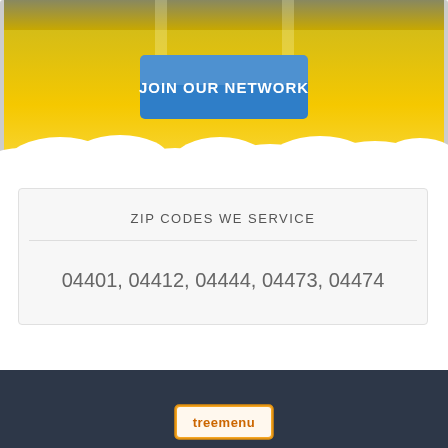[Figure (illustration): Banner image with golden/yellow sky background and white clouds at the bottom, containing a blue button with text JOIN OUR NETWORK in white bold letters]
ZIP CODES WE SERVICE
04401, 04412, 04444, 04473, 04474
[Figure (logo): Treemenu logo in the dark footer bar]